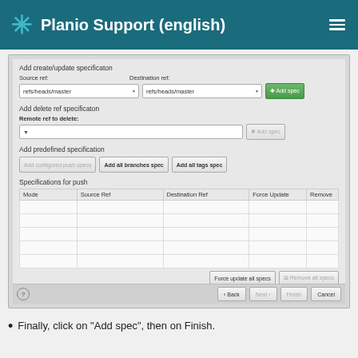Planio Support (english)
[Figure (screenshot): A software dialog window showing push specification settings with form fields for Source ref and Destination ref (both set to refs/heads/master), Add delete ref specification section with Remote ref to delete field, Add predefined specification section with buttons: Add configured push specs (disabled), Add all branches spec, Add all tags spec. A Specifications for push table with columns: Mode, Source Ref, Destination Ref, Force Update, Remove. Bottom buttons: Force update all specs, Remove all specs. Dialog navigation buttons: Back, Next, Finish, Cancel.]
Finally, click on "Add spec", then on Finish.